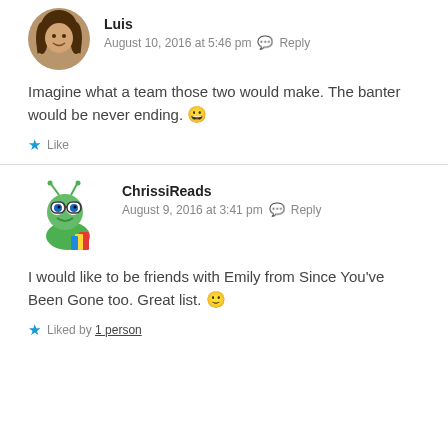[Figure (photo): Circular avatar photo of a person with long dark hair]
Luis
August 10, 2016 at 5:46 pm  Reply
Imagine what a team those two would make. The banter would be never ending. 😀
Like
[Figure (illustration): Cartoon bookworm mascot - a green caterpillar/worm character with glasses holding colorful books]
ChrissiReads
August 9, 2016 at 3:41 pm  Reply
I would like to be friends with Emily from Since You've Been Gone too. Great list. 🙂
Liked by 1 person